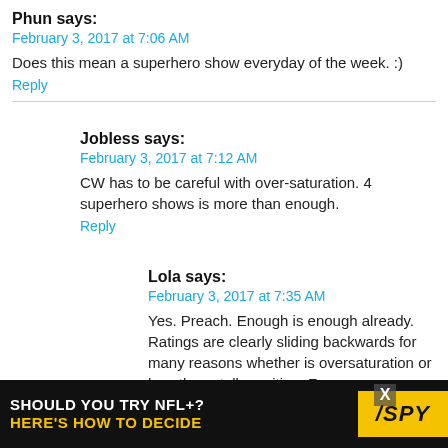Phun says:
February 3, 2017 at 7:06 AM
Does this mean a superhero show everyday of the week. :)
Reply
Jobless says:
February 3, 2017 at 7:12 AM
CW has to be careful with over-saturation. 4 superhero shows is more than enough.
Reply
Lola says:
February 3, 2017 at 7:35 AM
Yes. Preach. Enough is enough already. Ratings are clearly sliding backwards for many reasons whether is oversaturation or less than stellar writing. Fans
[Figure (other): Advertisement banner: SHOULD YOU TRY NFL+? HERE'S HOW TO DECIDE with SPY logo]